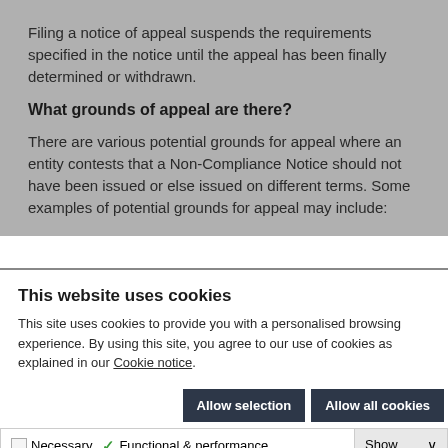Filing a notice of appeal suspends the requirements specified in the notice until the appeal has been finally determined or withdrawn.
What grounds of appeal are there?
There are various potential grounds for appeal where an entity contests that a Non-Compliance Notice should not have been issued or else issued on different terms. Some examples of potential grounds for appeal may include:
This website uses cookies
This site uses cookies to provide you with a personalised browsing experience. By using this site, you agree to our use of cookies as explained in our Cookie notice.
Allow selection | Allow all cookies
Necessary  Functional & performance  Statistics  Marketing  Show details